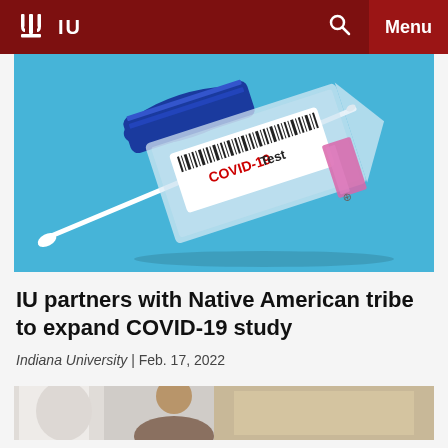IU | Menu
[Figure (photo): COVID-19 test tube with a white swab on blue background. Label on tube reads 'COVID-19 Test' with a barcode.]
IU partners with Native American tribe to expand COVID-19 study
Indiana University | Feb. 17, 2022
[Figure (photo): Partial view of a person (researcher or doctor) visible from the bottom of the page.]